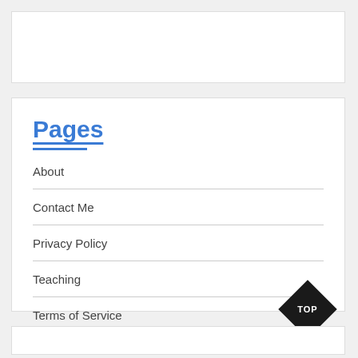Pages
About
Contact Me
Privacy Policy
Teaching
Terms of Service
[Figure (illustration): Black diamond shape with 'TOP' text in white, used as a back-to-top button]